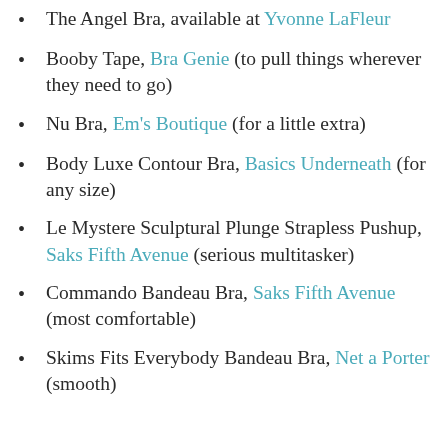The Angel Bra, available at Yvonne LaFleur
Booby Tape, Bra Genie (to pull things wherever they need to go)
Nu Bra, Em's Boutique (for a little extra)
Body Luxe Contour Bra, Basics Underneath (for any size)
Le Mystere Sculptural Plunge Strapless Pushup, Saks Fifth Avenue (serious multitasker)
Commando Bandeau Bra, Saks Fifth Avenue (most comfortable)
Skims Fits Everybody Bandeau Bra, Net a Porter (smooth)